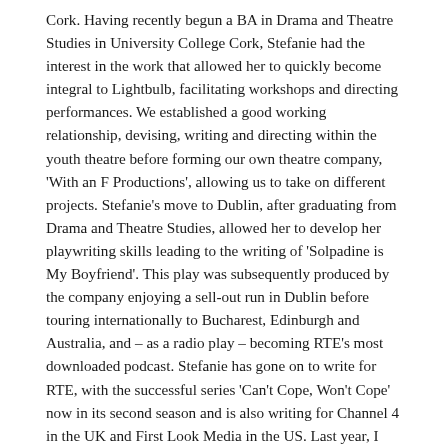Cork. Having recently begun a BA in Drama and Theatre Studies in University College Cork, Stefanie had the interest in the work that allowed her to quickly become integral to Lightbulb, facilitating workshops and directing performances. We established a good working relationship, devising, writing and directing within the youth theatre before forming our own theatre company, 'With an F Productions', allowing us to take on different projects. Stefanie's move to Dublin, after graduating from Drama and Theatre Studies, allowed her to develop her playwriting skills leading to the writing of 'Solpadine is My Boyfriend'. This play was subsequently produced by the company enjoying a sell-out run in Dublin before touring internationally to Bucharest, Edinburgh and Australia, and – as a radio play – becoming RTE's most downloaded podcast. Stefanie has gone on to write for RTE, with the successful series 'Can't Cope, Won't Cope' now in its second season and is also writing for Channel 4 in the UK and First Look Media in the US. Last year, I hosted Stefanie in the renamed 'Department of Theatre' to talk with students ...